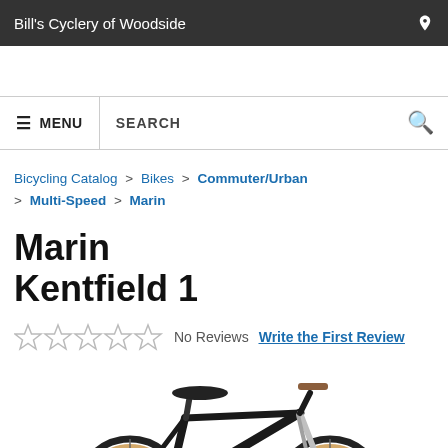Bill's Cyclery of Woodside
MENU  SEARCH
Bicycling Catalog > Bikes > Commuter/Urban > Multi-Speed > Marin
Marin Kentfield 1
No Reviews  Write the First Review
[Figure (photo): Photo of a Marin Kentfield 1 commuter/urban bicycle, black frame, tan/white tires, brown leather saddle and handlebar grips, photographed from the side.]